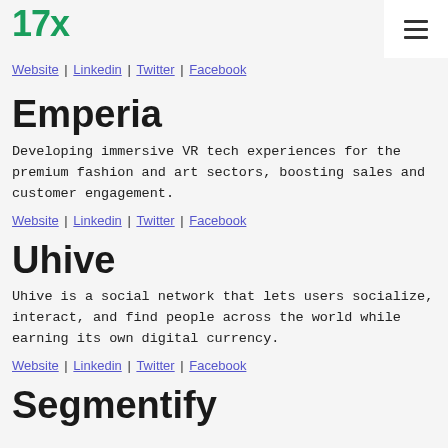17x
Website | Linkedin | Twitter | Facebook
Emperia
Developing immersive VR tech experiences for the premium fashion and art sectors, boosting sales and customer engagement.
Website | Linkedin | Twitter | Facebook
Uhive
Uhive is a social network that lets users socialize, interact, and find people across the world while earning its own digital currency.
Website | Linkedin | Twitter | Facebook
Segmentify